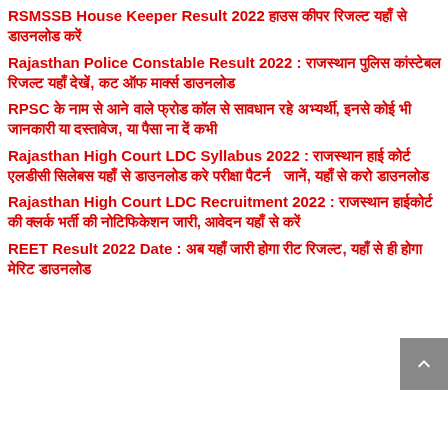RSMSSB House Keeper Result 2022 हाउस कीपर रिजल्ट यहाँ से डाउनलोड करें
Rajasthan Police Constable Result 2022 : राजस्थान पुलिस कांस्टेबल रिजल्ट यहाँ देखें, कट ऑफ मार्क्स डाउनलोड
RPSC के नाम से आने वाले फ्रोड कॉल से सावधान रहे अभ्यर्थी, इनसे कोई भी जानकारी या दस्तावेज, या पैसा ना दें कभी
Rajasthan High Court LDC Syllabus 2022 : राजस्थान हाई कोर्ट एलडीसी सिलेबस यहाँ से डाउनलोड करे परीक्षा पैटर्न  जानें, यहाँ से करो डाउनलोड
Rajasthan High Court LDC Recruitment 2022 : राजस्थान हाईकोर्ट की क्लर्क भर्ती की नोटिफिकेशन जारी, आवेदन यहाँ से करें
REET Result 2022 Date : अब यहाँ जारी होगा रीट रिजल्ट, यहाँ से ही होगा मेरिट डाउनलोड